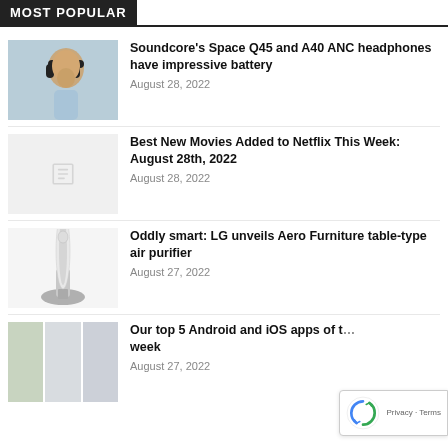MOST POPULAR
[Figure (photo): Young man wearing black over-ear headphones, smiling, looking upward, blurred background]
Soundcore’s Space Q45 and A40 ANC headphones have impressive battery
August 28, 2022
[Figure (photo): Placeholder image with document icon]
Best New Movies Added to Netflix This Week: August 28th, 2022
August 28, 2022
[Figure (photo): LG Aero Furniture table-type air purifier product photo on white background]
Oddly smart: LG unveils Aero Furniture table-type air purifier
August 27, 2022
[Figure (photo): Three smartphone screenshots showing apps]
Our top 5 Android and iOS apps of the week
August 27, 2022